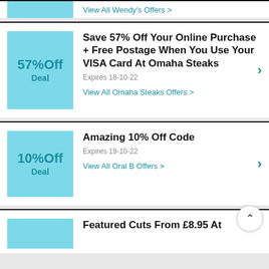View All Wendy's Offers >
Save 57% Off Your Online Purchase + Free Postage When You Use Your VISA Card At Omaha Steaks
Expires 18-10-22
View All Omaha Steaks Offers >
Amazing 10% Off Code
Expires 19-10-22
View All Oral B Offers >
Featured Cuts From £8.95 At